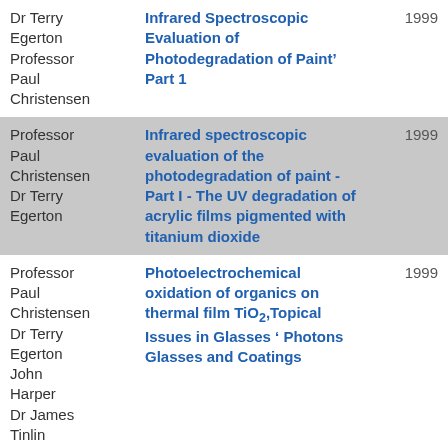| Authors | Title | Year |
| --- | --- | --- |
| Dr Terry Egerton
Professor Paul Christensen | Infrared Spectroscopic Evaluation of Photodegradation of Paint' Part 1 | 1999 |
| Professor Paul Christensen
Dr Terry Egerton | Infrared spectroscopic evaluation of the photodegradation of paint - Part I - The UV degradation of acrylic films pigmented with titanium dioxide | 1999 |
| Professor Paul Christensen
Dr Terry Egerton
John Harper
Dr James Tinlin | Photoelectrochemical oxidation of organics on thermal film TiO2,Topical Issues in Glasses ' Photons Glasses and Coatings | 1999 |